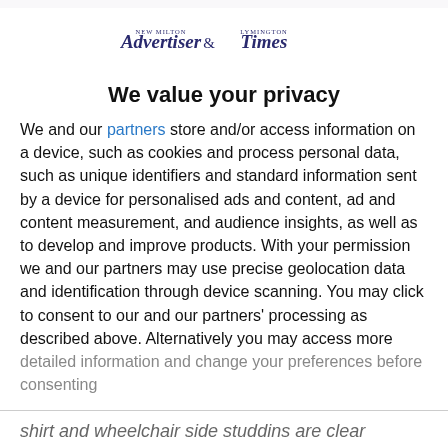[Figure (logo): New Milton Advertiser & Lymington Times newspaper logo]
We value your privacy
We and our partners store and/or access information on a device, such as cookies and process personal data, such as unique identifiers and standard information sent by a device for personalised ads and content, ad and content measurement, and audience insights, as well as to develop and improve products. With your permission we and our partners may use precise geolocation data and identification through device scanning. You may click to consent to our and our partners' processing as described above. Alternatively you may access more detailed information and change your preferences before consenting
AGREE
MORE OPTIONS
shirt and wheelchair side studdins are clear